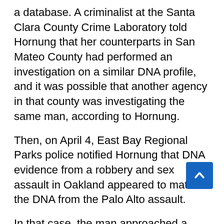a database. A criminalist at the Santa Clara County Crime Laboratory told Hornung that her counterparts in San Mateo County had performed an investigation on a similar DNA profile, and it was possible that another agency in that county was investigating the same man, according to Hornung.
Then, on April 4, East Bay Regional Parks police notified Hornung that DNA evidence from a robbery and sex assault in Oakland appeared to match the DNA from the Palo Alto assault.
In that case, the man approached a woman sitting in her car in a parking lot at the Martin Luther King Jr. Regional Shoreline park, opened the driver-side door and brandished a pistol, demanding money.
The man then kissed and licked the woman's face and